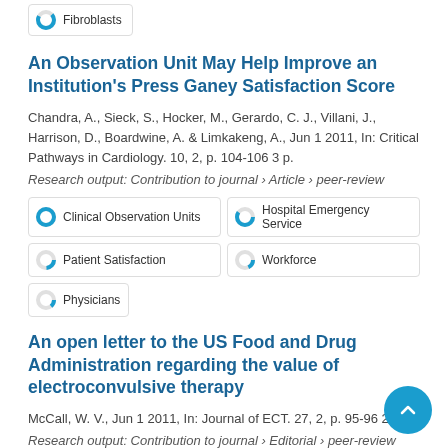[Figure (other): Partial keyword badge showing a donut chart icon and the text 'Fibroblasts', truncated at top of page]
An Observation Unit May Help Improve an Institution's Press Ganey Satisfaction Score
Chandra, A., Sieck, S., Hocker, M., Gerardo, C. J., Villani, J., Harrison, D., Boardwine, A. & Limkakeng, A., Jun 1 2011, In: Critical Pathways in Cardiology. 10, 2, p. 104-106 3 p.
Research output: Contribution to journal › Article › peer-review
[Figure (other): Keyword badge with donut icon (full/100%) and label 'Clinical Observation Units']
[Figure (other): Keyword badge with donut icon (~60%) and label 'Hospital Emergency Service']
[Figure (other): Keyword badge with donut icon (~20%) and label 'Patient Satisfaction']
[Figure (other): Keyword badge with donut icon (~15%) and label 'Workforce']
[Figure (other): Keyword badge with donut icon (~10%) and label 'Physicians']
An open letter to the US Food and Drug Administration regarding the value of electroconvulsive therapy
McCall, W. V., Jun 1 2011, In: Journal of ECT. 27, 2, p. 95-96 2 p.
Research output: Contribution to journal › Editorial › peer-review